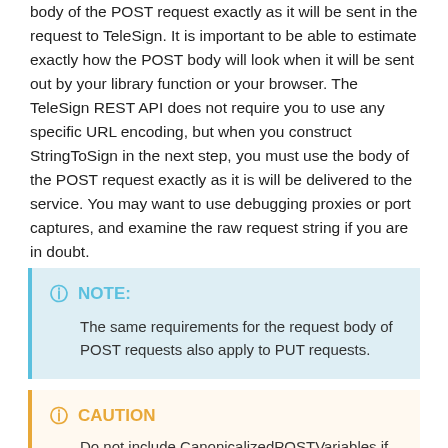body of the POST request exactly as it will be sent in the request to TeleSign. It is important to be able to estimate exactly how the POST body will look when it will be sent out by your library function or your browser. The TeleSign REST API does not require you to use any specific URL encoding, but when you construct StringToSign in the next step, you must use the body of the POST request exactly as it is will be delivered to the service. You may want to use debugging proxies or port captures, and examine the raw request string if you are in doubt.
NOTE: The same requirements for the request body of POST requests also apply to PUT requests.
CAUTION Do not include CanonicalizedPOSTVariables if...